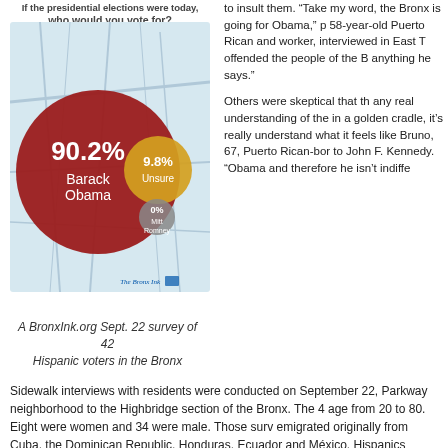[Figure (pie-chart): If the presidential elections were today, who would you vote for?]
A BronxInk.org Sept. 22 survey of 42 Hispanic voters in the Bronx
to insult them. “Take my word, the Bronx is going for Obama,” p... 58-year-old Puerto Rican and... worker, interviewed in East T... offended the people of the B... anything he says.”
Others were skeptical that th... any real understanding of the... in a golden cradle, it’s really... understand what it feels like... Bruno, 67, Puerto Rican-bor... to John F. Kennedy. “Obama... and therefore he isn’t indiffe...
Sidewalk interviews with residents were conducted on September 22... Parkway neighborhood to the Highbridge section of the Bronx. The 4... age from 20 to 80. Eight were women and 34 were male. Those surv... emigrated originally from Cuba, the Dominican Republic, Honduras,... Ecuador and México. Hispanics represent 54 percent of the populati...
Results echoed a national USA TODAY/Gallup Poll released on Jun...